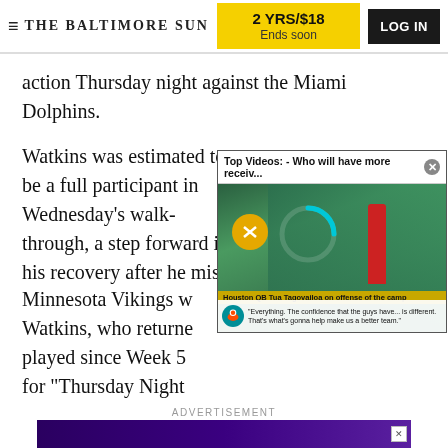THE BALTIMORE SUN | 2 YRS/$18 Ends soon | LOG IN
action Thursday night against the Miami Dolphins.
Watkins was estimated to be a full participant in Wednesday's walk-through, a step forward in his recovery after he mis... Minnesota Vikings w... Watkins, who returne... played since Week 5... for “Thursday Night...
[Figure (screenshot): Video overlay popup: 'Top Videos: - Who will have more receiv...' with an X close button. Shows a video frame of Miami Dolphins players at practice with a mute button, loading spinner, lower-third bar, and a quote lower-third.]
ADVERTISEMENT
[Figure (screenshot): Advertisement banner with purple gradient background.]
ADVERTISEMENT
[Figure (screenshot): Baltimore Ravens advertisement: SINGLE-GAME TICKETS ON SALE NOW!]